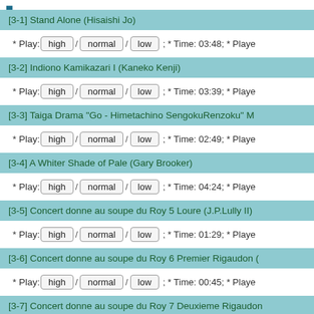[3-1] Stand Alone (Hisaishi Jo) * Play: high / normal / low ; * Time: 03:48; * Player...
[3-2] Indiono Kamikazari I (Kaneko Kenji) * Play: high / normal / low ; * Time: 03:39; * Player...
[3-3] Taiga Drama "Go - Himetachino SengokuRenzoku" M... * Play: high / normal / low ; * Time: 02:49; * Player...
[3-4] A Whiter Shade of Pale (Gary Brooker) * Play: high / normal / low ; * Time: 04:24; * Player...
[3-5] Concert donne au soupe du Roy 5 Loure (J.P.Lully II) * Play: high / normal / low ; * Time: 01:29; * Player...
[3-6] Concert donne au soupe du Roy 6 Premier Rigaudon (... * Play: high / normal / low ; * Time: 00:45; * Player...
[3-7] Concert donne au soupe du Roy 7 Deuxieme Rigaudon...